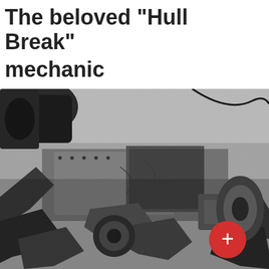The beloved "Hull Break" mechanic
[Figure (photo): Black and white photograph showing the interior mechanics and hull of a damaged or destroyed tank/armored vehicle, with broken and twisted metal components visible. A red circular button with a plus sign (+) is overlaid in the lower right area of the image.]